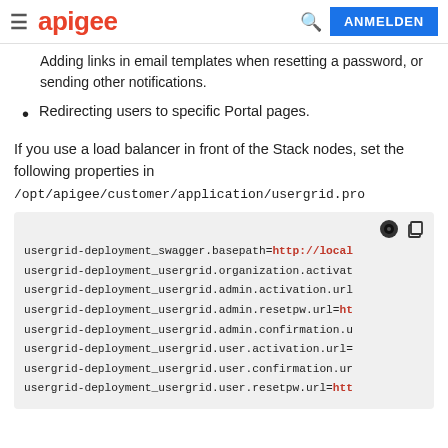apigee | ANMELDEN
Adding links in email templates when resetting a password, or sending other notifications.
Redirecting users to specific Portal pages.
If you use a load balancer in front of the Stack nodes, set the following properties in /opt/apigee/customer/application/usergrid.pro
[Figure (screenshot): Code block showing usergrid deployment properties: usergrid-deployment_swagger.basepath=http://local, usergrid-deployment_usergrid.organization.activat, usergrid-deployment_usergrid.admin.activation.url, usergrid-deployment_usergrid.admin.resetpw.url=ht, usergrid-deployment_usergrid.admin.confirmation.u, usergrid-deployment_usergrid.user.activation.url=, usergrid-deployment_usergrid.user.confirmation.ur, usergrid-deployment_usergrid.user.resetpw.url=htt]